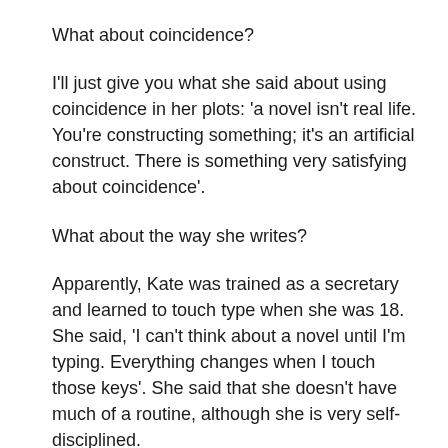What about coincidence?
I'll just give you what she said about using coincidence in her plots: 'a novel isn't real life. You're constructing something; it's an artificial construct. There is something very satisfying about coincidence'.
What about the way she writes?
Apparently, Kate was trained as a secretary and learned to touch type when she was 18. She said, 'I can't think about a novel until I'm typing. Everything changes when I touch those keys'. She said that she doesn't have much of a routine, although she is very self-disciplined.
I loved what she had to say about a metaphor for the way she writes. She rejected mosaic and said instead: 'I think of writing as like a tapestry'. There's a lot of